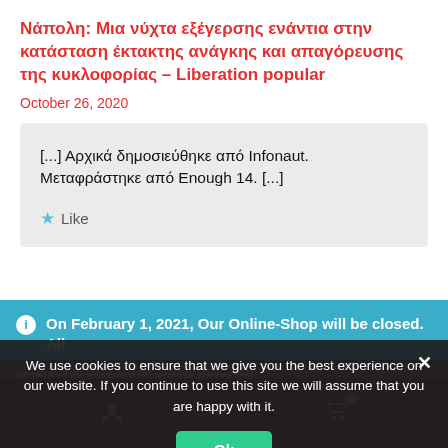Νάπολη: Μια νύχτα εξέγερσης ενάντια στην κατάσταση έκτακτης ανάγκης και απαγόρευσης της κυκλοφορίας – Liberation popular
October 26, 2020
[...] Αρχικά δημοσιεύθηκε από Infonaut. Μεταφράστηκε από Enough 14. [...]
★ Like
ℹ On February 1, 2021, Our Online-Shop will be closed. All
orders until January 31 will be delivered
Dismiss
We use cookies to ensure that we give you the best experience on our website. If you continue to use this site we will assume that you are happy with it.
Ok